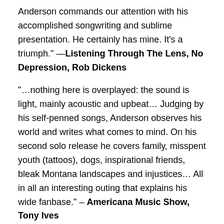Anderson commands our attention with his accomplished songwriting and sublime presentation. He certainly has mine. It’s a triumph.” —Listening Through The Lens, No Depression, Rob Dickens
“…nothing here is overplayed: the sound is light, mainly acoustic and upbeat… Judging by his self-penned songs, Anderson observes his world and writes what comes to mind. On his second solo release he covers family, misspent youth (tattoos), dogs, inspirational friends, bleak Montana landscapes and injustices… All in all an interesting outing that explains his wide fanbase.” – Americana Music Show, Tony Ives
“The quality of songwriting here is exemplary. Without exception we are treated to consistently strong melodies